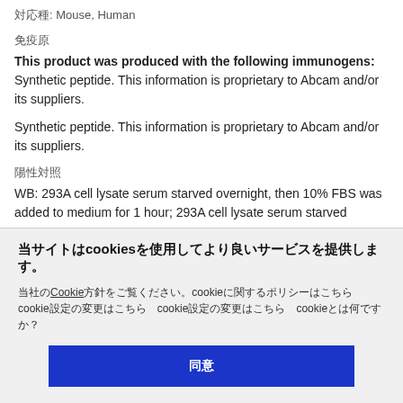対応種: Mouse, Human
免疫原
This product was produced with the following immunogens: Synthetic peptide. This information is proprietary to Abcam and/or its suppliers.
Synthetic peptide. This information is proprietary to Abcam and/or its suppliers.
陽性対照
WB: 293A cell lysate serum starved overnight, then 10% FBS was added to medium for 1 hour; 293A cell lysate serum starved
当サイトはcookiesを使用してより良いサービスを提供します。
当社のCookie方針をご覧ください。cookieに関するポリシーはこちら cookie設定の変更はこちら cookieとは何ですか？
同意